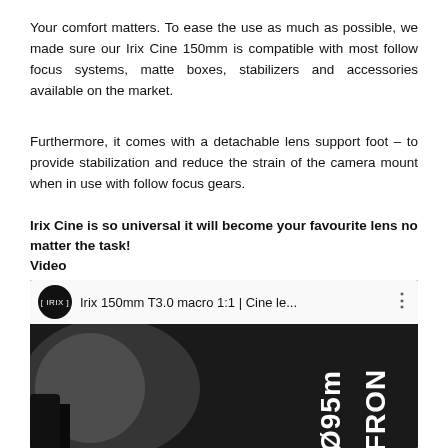Your comfort matters. To ease the use as much as possible, we made sure our Irix Cine 150mm is compatible with most follow focus systems, matte boxes, stabilizers and accessories available on the market.
Furthermore, it comes with a detachable lens support foot – to provide stabilization and reduce the strain of the camera mount when in use with follow focus gears.
Irix Cine is so universal it will become your favourite lens no matter the task!
Video
[Figure (screenshot): Video thumbnail for 'Irix 150mm T3.0 macro 1:1 | Cine le...' showing a dark background with the Irix logo circle on the left and rotating lens text 'Ø95mm' and 'FRONT' visible on a black lens surface.]